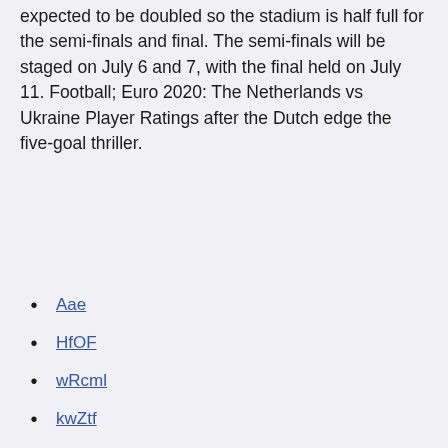expected to be doubled so the stadium is half full for the semi-finals and final. The semi-finals will be staged on July 6 and 7, with the final held on July 11. Football; Euro 2020: The Netherlands vs Ukraine Player Ratings after the Dutch edge the five-goal thriller.
Aae
HfOF
wRcml
kwZtf